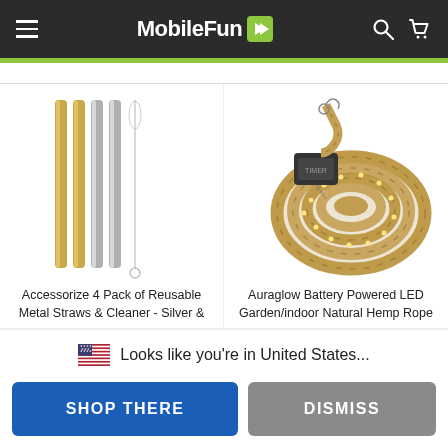MobileFun
[Figure (photo): Accessorize 4 Pack of Reusable Metal Straws & Cleaner - Silver & Gold colored metal straws with cleaning brush]
Accessorize 4 Pack of Reusable Metal Straws & Cleaner - Silver &
[Figure (photo): Auraglow Battery Powered LED Garden/indoor Natural Hemp Rope light coiled with battery pack]
Auraglow Battery Powered LED Garden/indoor Natural Hemp Rope
🇺🇸  Looks like you're in United States...
SHOP THERE
DISMISS